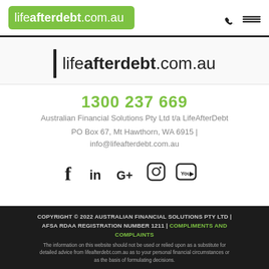lifeafterdebt.com.au
[Figure (logo): lifeafterdebt.com.au logo with black vertical bar on left and text on right]
1300 237 669
Australian Financial Solutions Pty Ltd t/a LifeAfterDebt
PO Box 67, Mt Hawthorn, WA 6915 | info@lifeafterdebt.com.au
[Figure (infographic): Social media icons: Facebook, LinkedIn, Google+, Instagram, YouTube]
COPYRIGHT © 2022 AUSTRALIAN FINANCIAL SOLUTIONS PTY LTD | AFSA RDAA REGISTRATION NUMBER 1211 | COMPLIMENTS AND COMPLAINTS
The information on this website should not be used or relied upon as a substitute for detailed advice from lifeafterdebt.com.au as to your personal financial circumstances or as the basis of formulating decisions.